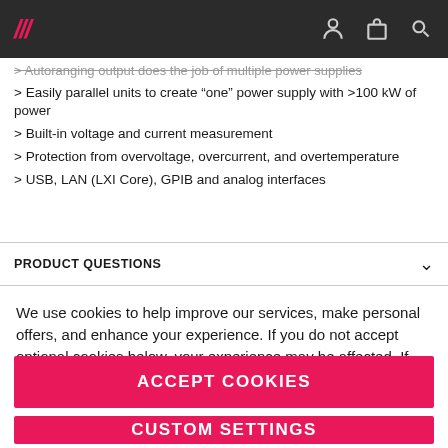/// (logo) [nav icons]
> Autoranging output does the job of multiple power supplies
> Easily parallel units to create “one” power supply with >100 kW of power
> Built-in voltage and current measurement
> Protection from overvoltage, overcurrent, and overtemperature
> USB, LAN (LXI Core), GPIB and analog interfaces
PRODUCT QUESTIONS
We use cookies to help improve our services, make personal offers, and enhance your experience. If you do not accept optional cookies below, your experience may be affected. If you want to know more, please read the Privacy Policy